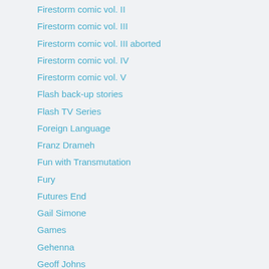Firestorm comic vol. II
Firestorm comic vol. III
Firestorm comic vol. III aborted
Firestorm comic vol. IV
Firestorm comic vol. V
Flash back-up stories
Flash TV Series
Foreign Language
Franz Drameh
Fun with Transmutation
Fury
Futures End
Gail Simone
Games
Gehenna
Geoff Johns
George Perez
Gerry Conway
Hero Points Podcast
Interview
Jamal Igle
Jason Rusch
Jefferson 'Jax' Jackson